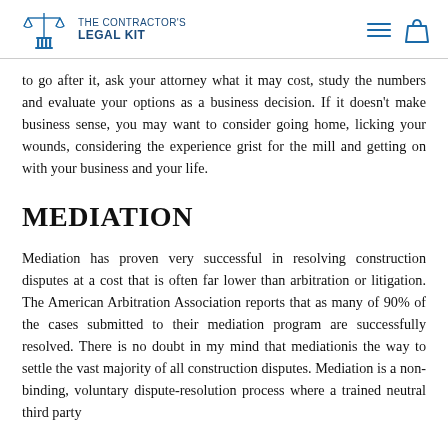THE CONTRACTOR'S LEGAL KIT
to go after it, ask your attorney what it may cost, study the numbers and evaluate your options as a business decision. If it doesn't make business sense, you may want to consider going home, licking your wounds, considering the experience grist for the mill and getting on with your business and your life.
MEDIATION
Mediation has proven very successful in resolving construction disputes at a cost that is often far lower than arbitration or litigation. The American Arbitration Association reports that as many of 90% of the cases submitted to their mediation program are successfully resolved. There is no doubt in my mind that mediationis the way to settle the vast majority of all construction disputes. Mediation is a non-binding, voluntary dispute-resolution process where a trained neutral third party